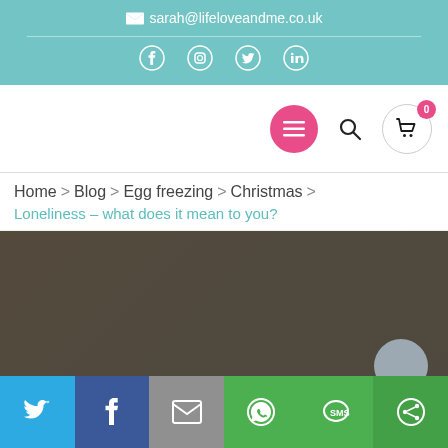sarah@lifeloveandme.co.uk
[Figure (screenshot): Navigation bar with hamburger menu button (pink circle), search icon, and cart icon with badge showing 0]
Home > Blog > Egg freezing > Christmas > Loneliness – what does it mean to you?
[Figure (photo): Dark brownish-gray textured hero image area]
[Figure (infographic): Social share bar with Twitter, Facebook, Email, WhatsApp, SMS, and other share buttons]